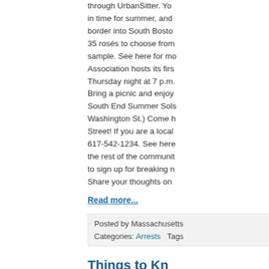through UrbanSitter. You in time for summer, and border into South Boston. 35 rosés to choose from sample. See here for more Association hosts its first Thursday night at 7 p.m. Bring a picnic and enjoy South End Summer Sols Washington St.) Come h Street! If you are a local 617-542-1234. See here the rest of the communit to sign up for breaking n Share your thoughts on
Read more...
Posted by Massachusetts
Categories: Arrests   Tags
Things to Kn Donations N
1. Weather: The National of showers and thunders donations of used cell ph them for you. See here